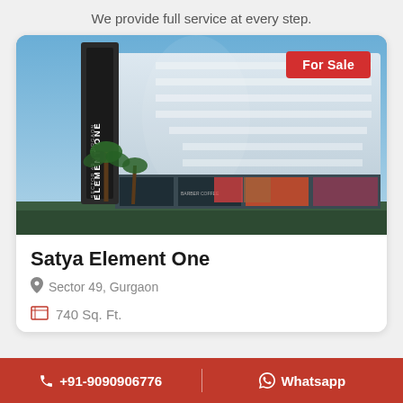We provide full service at every step.
[Figure (photo): Exterior architectural rendering of Satya Element One commercial/mixed-use building in Sector 49, Gurgaon. Modern multi-storey building with white curved balconies, glass frontage retail stores at ground level, tall signage tower reading ELEMENT ONE, palm trees, and billboard advertisements. Red 'For Sale' badge in top-right corner.]
Satya Element One
Sector 49, Gurgaon
740 Sq. Ft.
+91-9090906776   Whatsapp